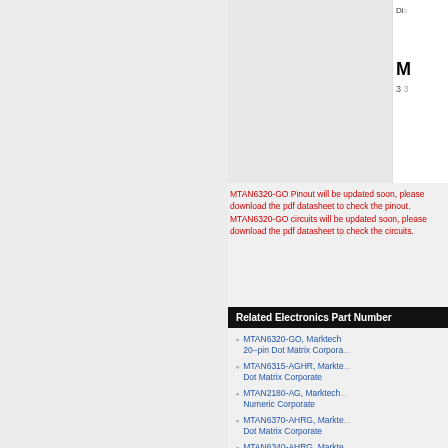[Figure (screenshot): Partial screenshot of a component pinout/datasheet page with a gray image area placeholder and a small white card on the right showing partial text 'Di...' and a bold 'M' with '3...' below it.]
MTAN6320-GO Pinout will be updated soon, please download the pdf datasheet to check the pinout. MTAN6320-GO circuits will be updated soon, please download the pdf datasheet to check the circuits.
Related Electronics Part Number
MTAN6320-GO, Marktech ... 20-pin Dot Matrix Corporate
MTAN6315-AGHR, Markte... Dot Matrix Corporate
MTAN2180-AG, Marktech ... Numeric Corporate
MTAN6370-AHRG, Markte... Dot Matrix Corporate
MTAN6340-AHRG, Markte... Dot Matrix Corporate
TLHE5800, High Intensity...